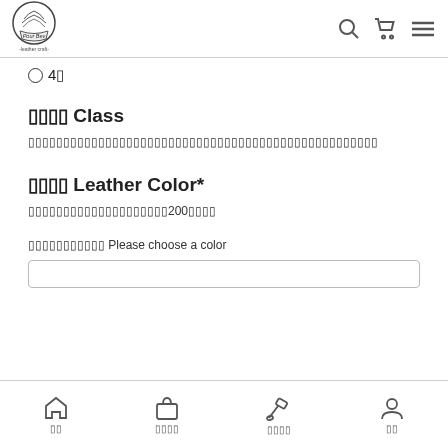[Figure (logo): Circular leather craft shop logo with text 'Pour Bev -leather craft-']
○4⌷
⌷⌷⌷⌷ Class
⌷⌷⌷⌷⌷⌷⌷⌷⌷⌷⌷⌷⌷⌷⌷⌷⌷⌷⌷⌷⌷⌷⌷⌷⌷⌷⌷⌷⌷⌷⌷⌷⌷⌷⌷⌷⌷⌷⌷⌷⌷⌷⌷⌷⌷⌷⌷⌷⌷⌷
⌷⌷⌷⌷ Leather Color*
⌷⌷⌷⌷⌷⌷⌷⌷⌷⌷⌷⌷⌷⌷⌷⌷⌷⌷⌷⌷200⌷⌷⌷⌷
⌷⌷⌷⌷⌷⌷⌷⌷⌷⌷⌷ Please choose a color
⌷⌷  ⌷⌷⌷⌷  ⌷⌷⌷⌷  ⌷⌷